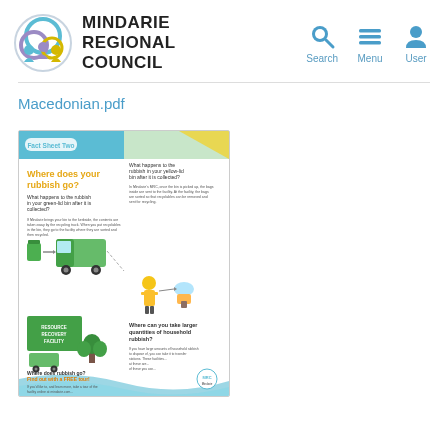[Figure (logo): Mindarie Regional Council logo with circular figures and coloured rings, followed by bold text MINDARIE REGIONAL COUNCIL]
[Figure (infographic): Navigation icons for Search, Menu, User in light blue]
Macedonian.pdf
[Figure (infographic): Thumbnail preview of a recycling fact sheet titled 'Where does your rubbish go?' with green bins, trucks, and recycling information]